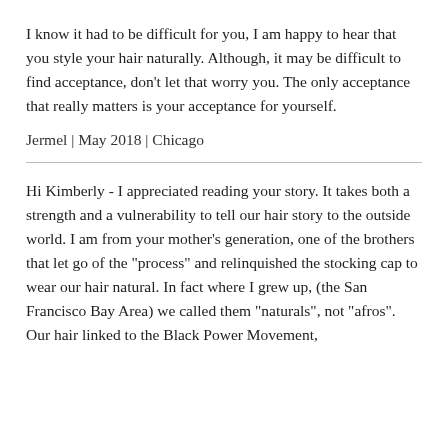I know it had to be difficult for you, I am happy to hear that you style your hair naturally. Although, it may be difficult to find acceptance, don't let that worry you. The only acceptance that really matters is your acceptance for yourself.
Jermel | May 2018 | Chicago
Hi Kimberly - I appreciated reading your story. It takes both a strength and a vulnerability to tell our hair story to the outside world. I am from your mother's generation, one of the brothers that let go of the "process" and relinquished the stocking cap to wear our hair natural. In fact where I grew up, (the San Francisco Bay Area) we called them "naturals", not "afros". Our hair linked to the Black Power Movement,